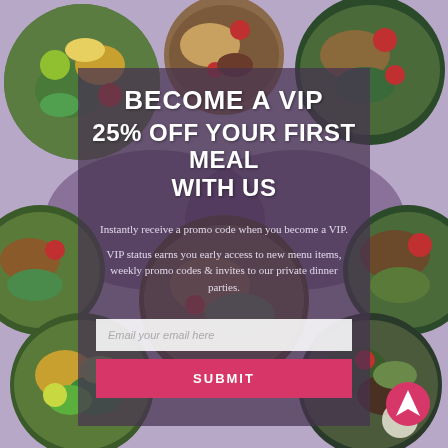[Figure (photo): Background collage of colorful food bowls with vegetables, grains, and proteins on a purple background]
BECOME A VIP 25% OFF YOUR FIRST MEAL WITH US
Instantly receive a promo code when you become a VIP.
VIP status earns you early access to new menu items, weekly promo codes & invites to our private dinner parties.
Email your email here
SUBMIT